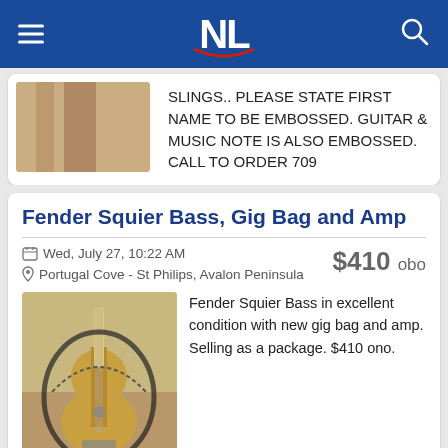NL (logo)
SLINGS.. PLEASE STATE FIRST NAME TO BE EMBOSSED. GUITAR & MUSIC NOTE IS ALSO EMBOSSED. CALL TO ORDER 709
Fender Squier Bass, Gig Bag and Amp
Wed, July 27, 10:22 AM
$410 obo
Portugal Cove - St Philips, Avalon Peninsula
[Figure (photo): Fender Squier Bass guitar in a black gig bag, viewed from the front, on a wooden floor]
Fender Squier Bass in excellent condition with new gig bag and amp. Selling as a package. $410 ono.
gibson acoustic guitar case